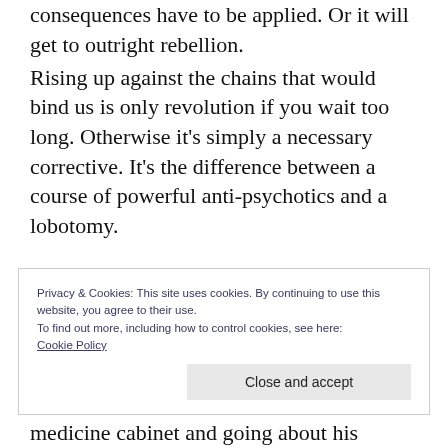consequences have to be applied. Or it will get to outright rebellion.
Rising up against the chains that would bind us is only revolution if you wait too long. Otherwise it's simply a necessary corrective. It's the difference between a course of powerful anti-psychotics and a lobotomy.

But, no matter what we do, it won't matter if we don't mobilize an adequate portion of
Privacy & Cookies: This site uses cookies. By continuing to use this website, you agree to their use.
To find out more, including how to control cookies, see here: Cookie Policy
Close and accept
medicine cabinet and going about his